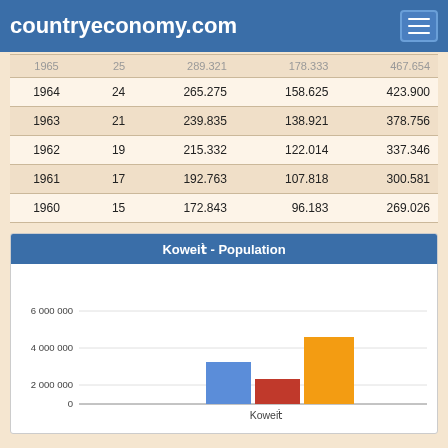countryeconomy.com
| Year |  |  |  |  |
| --- | --- | --- | --- | --- |
| 1964 | 24 | 265.275 | 158.625 | 423.900 |
| 1963 | 21 | 239.835 | 138.921 | 378.756 |
| 1962 | 19 | 215.332 | 122.014 | 337.346 |
| 1961 | 17 | 192.763 | 107.818 | 300.581 |
| 1960 | 15 | 172.843 | 96.183 | 269.026 |
[Figure (grouped-bar-chart): Koweït - Population]